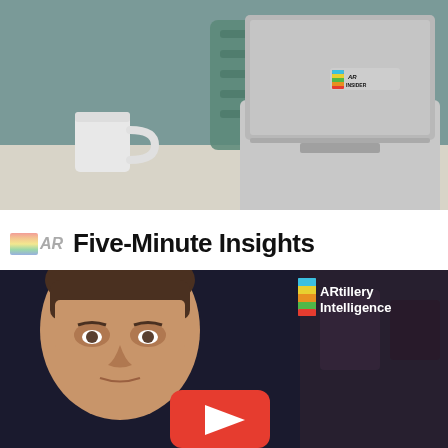[Figure (photo): Photo of a silver laptop on a desk with an AR Insider sticker on the lid, and a white coffee mug to the left. Teal/grey office background.]
Five-Minute Insights
[Figure (photo): Video thumbnail showing a man's face on the left side, a YouTube play button in the center-bottom, and the ARtillery Intelligence logo with colorful stripes in the upper right corner on a dark blurred background.]